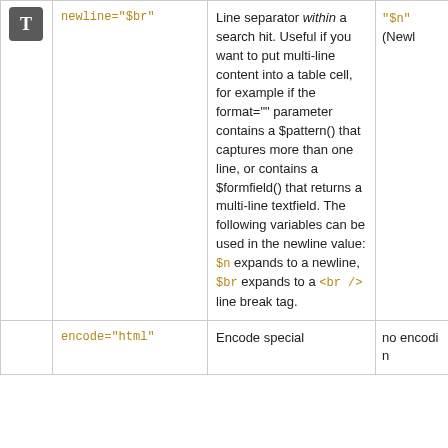|  | Attribute | Description | Default |
| --- | --- | --- | --- |
| T | newline="$br" | Line separator within a search hit. Useful if you want to put multi-line content into a table cell, for example if the format="" parameter contains a $pattern() that captures more than one line, or contains a $formfield() that returns a multi-line textfield. The following variables can be used in the newline value: $n expands to a newline, $br expands to a <br /> line break tag. | "$n" (Newl... |
|  | encode="html" | Encode special | no encodi... |